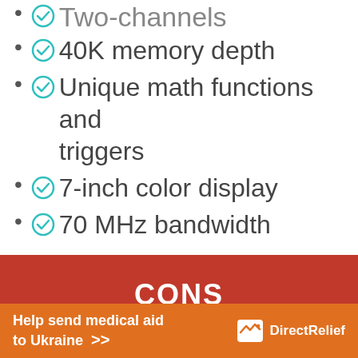Two-channels
40K memory depth
Unique math functions and triggers
7-inch color display
70 MHz bandwidth
CONS
A bit more costly as a
Help send medical aid to Ukraine >>  DirectRelief